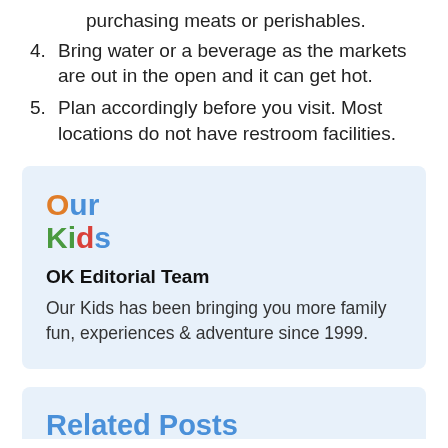purchasing meats or perishables.
4. Bring water or a beverage as the markets are out in the open and it can get hot.
5. Plan accordingly before you visit. Most locations do not have restroom facilities.
[Figure (logo): Our Kids logo with 'Our' in orange and blue and 'Kids' in green, red, and blue]
OK Editorial Team
Our Kids has been bringing you more family fun, experiences & adventure since 1999.
Related Posts